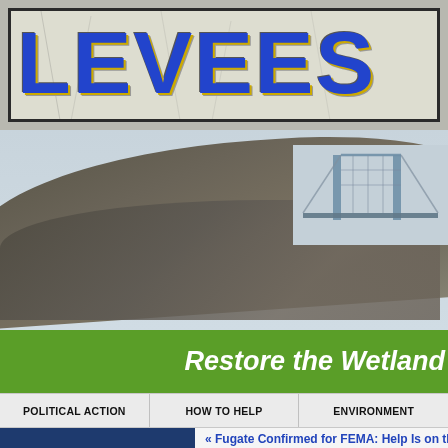[Figure (logo): LEVEES website logo banner with blue block letters on a cracked/textured white background with dark border]
[Figure (photo): Close-up photograph of a large earthen levee or flood wall with a bridge structure visible in the background against a light sky]
Restore the Wetland
POLITICAL ACTION  HOW TO HELP  ENVIRONMENT
Pages
News Archive
« Fugate Confirmed for FEMA: Help Is on th
National Trai